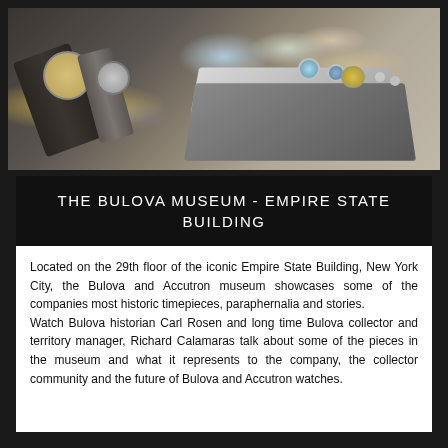[Figure (photo): Photo of watches and jewelry pieces displayed on dark tiered display stands, showing gold watches with straps, rings, and other timepieces on a gray gradient background]
THE BULOVA MUSEUM - EMPIRE STATE BUILDING
Located on the 29th floor of the iconic Empire State Building, New York City, the Bulova and Accutron museum showcases some of the companies most historic timepieces, paraphernalia and stories.
Watch Bulova historian Carl Rosen and long time Bulova collector and territory manager, Richard Calamaras talk about some of the pieces in the museum and what it represents to the company, the collector community and the future of Bulova and Accutron watches.